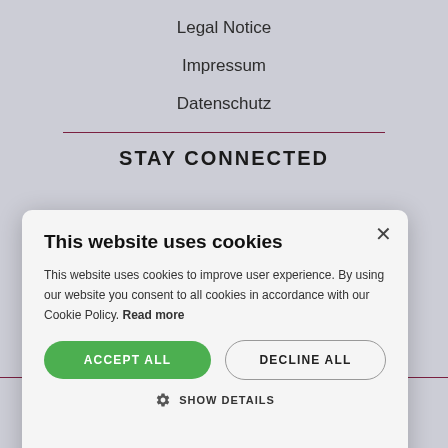Legal Notice
Impressum
Datenschutz
STAY CONNECTED
This website uses cookies
This website uses cookies to improve user experience. By using our website you consent to all cookies in accordance with our Cookie Policy. Read more
ACCEPT ALL
DECLINE ALL
SHOW DETAILS
© 2021 All rights reserved